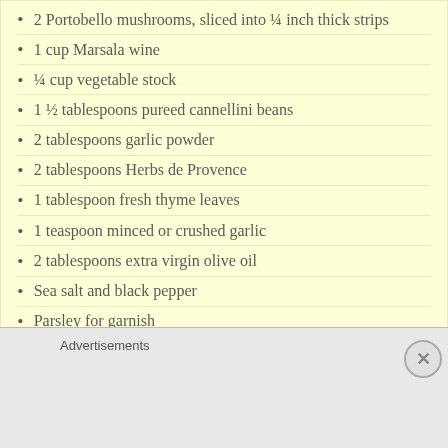2 Portobello mushrooms, sliced into ¼ inch thick strips
1 cup Marsala wine
¼ cup vegetable stock
1 ½ tablespoons pureed cannellini beans
2 tablespoons garlic powder
2 tablespoons Herbs de Provence
1 tablespoon fresh thyme leaves
1 teaspoon minced or crushed garlic
2 tablespoons extra virgin olive oil
Sea salt and black pepper
Parsley for garnish
Directions:
Advertisements